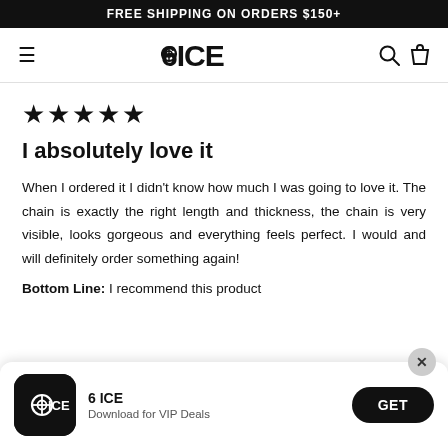FREE SHIPPING ON ORDERS $150+
[Figure (logo): 6ICE brand logo with hamburger menu, search and bag icons in navigation bar]
★★★★★
I absolutely love it
When I ordered it I didn't know how much I was going to love it. The chain is exactly the right length and thickness, the chain is very visible, looks gorgeous and everything feels perfect. I would and will definitely order something again!
Bottom Line: I recommend this product
[Figure (screenshot): 6 ICE app download banner with app icon, name '6 ICE', subtitle 'Download for VIP Deals', and GET button]